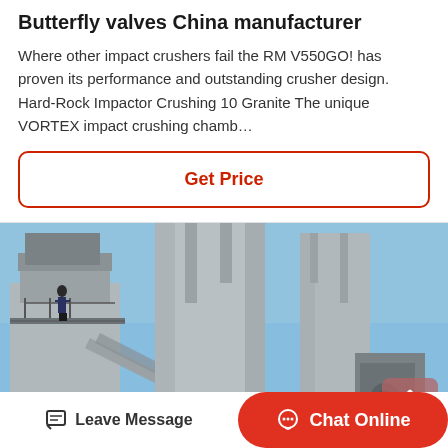Butterfly valves China manufacturer
Where other impact crushers fail the RM V550GO! has proven its performance and outstanding crusher design. Hard-Rock Impactor Crushing 10 Granite The unique VORTEX impact crushing chamb…
Get Price
[Figure (photo): Industrial crusher machinery with large cylindrical towers and conveyor components against a blue sky]
Leave Message
Chat Online